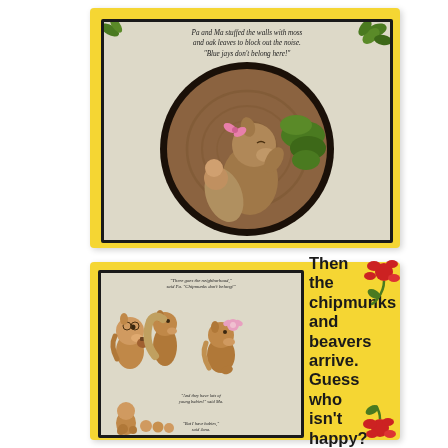[Figure (illustration): Top panel: children's book illustration inside a circular frame showing a squirrel stuffing walls with moss and oak leaves. Text reads: 'Pa and Ma stuffed the walls with moss and oak leaves to block out the noise. "Blue jays don't belong here!"' Yellow background with green leaf decorations at corners.]
[Figure (illustration): Bottom panel: children's book illustration showing chipmunks and squirrels with small text from book. Yellow background with red flower decorations. Right side has bold text: 'Then the chipmunks and beavers arrive. Guess who isn't happy?']
Then the chipmunks and beavers arrive. Guess who isn't happy?